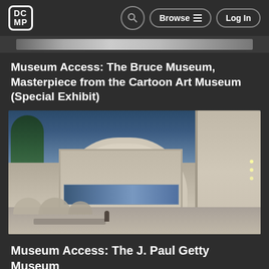DCMP | Browse | Log In
[Figure (photo): Thin horizontal banner/strip image, appears to show a partial view of a video or media item]
Museum Access: The Bruce Museum, Masterpiece from the Cartoon Art Museum (Special Exhibit)
[Figure (photo): Exterior photo of a modern museum building at dusk/evening. The building features a prominent curved rotunda with large glass windows illuminated from inside. There are outdoor seating areas with umbrellas in the foreground and trees to the left. The sky is a deep blue twilight color.]
Museum Access: The J. Paul Getty Museum